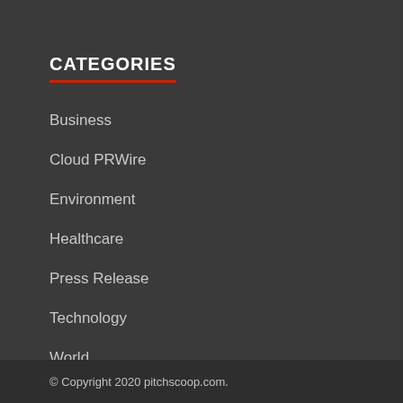CATEGORIES
Business
Cloud PRWire
Environment
Healthcare
Press Release
Technology
World
© Copyright 2020 pitchscoop.com.